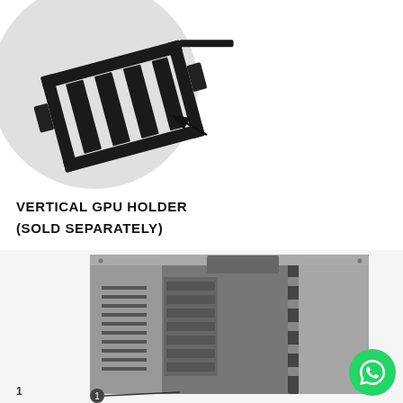[Figure (illustration): Close-up circle diagram of a vertical GPU holder bracket component, black metal slotted bracket with an arrow pointing to it, on a light grey circular background. The GPU holder is shown at an angle with parallel slats/slots.]
VERTICAL GPU HOLDER
(SOLD SEPARATELY)
[Figure (photo): Black and white photo of a PC computer case (tower chassis) shown from a rear-side angle, displaying the back panel with expansion slots, ventilation slots, and a glass side panel. A number '1' label is visible at the bottom left indicating a callout point. A WhatsApp button icon appears in the bottom right corner.]